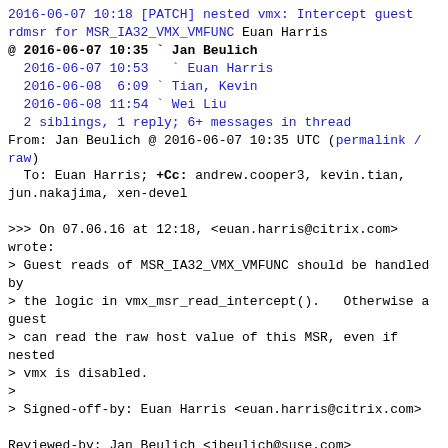2016-06-07 10:18 [PATCH] nested vmx: Intercept guest rdmsr for MSR_IA32_VMX_VMFUNC Euan Harris
@ 2016-06-07 10:35 ` Jan Beulich
  2016-06-07 10:53   ` Euan Harris
  2016-06-08  6:09 ` Tian, Kevin
  2016-06-08 11:54 ` Wei Liu
  2 siblings, 1 reply; 6+ messages in thread
From: Jan Beulich @ 2016-06-07 10:35 UTC (permalink / raw)
  To: Euan Harris; +Cc: andrew.cooper3, kevin.tian, jun.nakajima, xen-devel

>>> On 07.06.16 at 12:18, <euan.harris@citrix.com> wrote:
> Guest reads of MSR_IA32_VMX_VMFUNC should be handled by
> the logic in vmx_msr_read_intercept().  Otherwise a guest
> can read the raw host value of this MSR, even if nested
> vmx is disabled.
>
> Signed-off-by: Euan Harris <euan.harris@citrix.com>

Reviewed-by: Jan Beulich <jbeulich@suse.com>

Albeit ...

> --- a/xen/arch/x86/hvm/vmx/vmx.c
> +++ b/xen/arch/x86/hvm/vmx/vmx.c